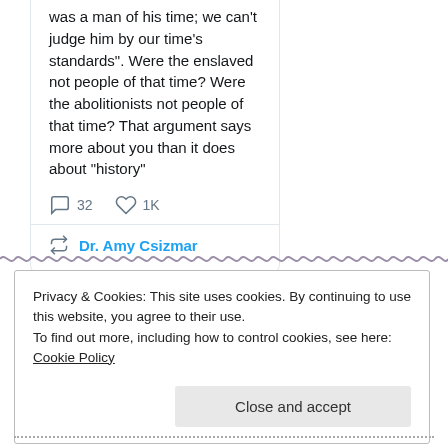was a man of his time; we can't judge him by our time's standards". Were the enslaved not people of that time? Were the abolitionists not people of that time? That argument says more about you than it does about "history"
32   1K
Dr. Amy Csizmar
Privacy & Cookies: This site uses cookies. By continuing to use this website, you agree to their use.
To find out more, including how to control cookies, see here: Cookie Policy
Close and accept